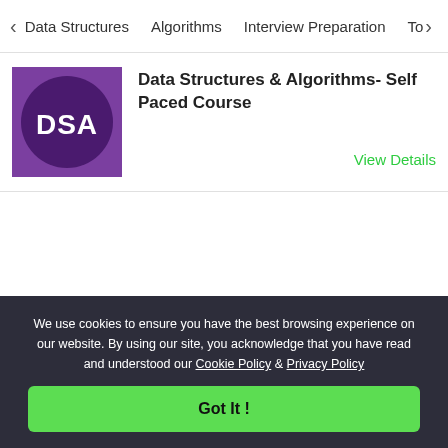Data Structures   Algorithms   Interview Preparation   To
[Figure (logo): DSA purple square logo with circular dark background and 'DSA' text in white]
Data Structures & Algorithms- Self Paced Course
View Details
We use cookies to ensure you have the best browsing experience on our website. By using our site, you acknowledge that you have read and understood our Cookie Policy & Privacy Policy
Got It !